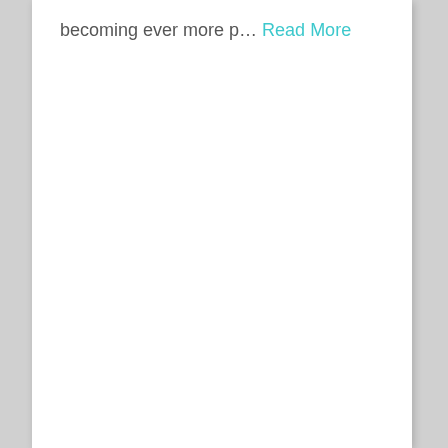becoming ever more p… Read More